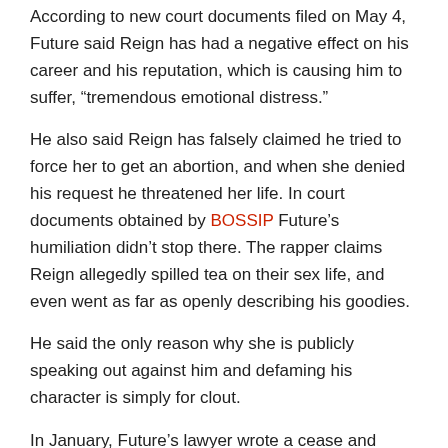According to new court documents filed on May 4, Future said Reign has had a negative effect on his career and his reputation, which is causing him to suffer, “tremendous emotional distress.”
He also said Reign has falsely claimed he tried to force her to get an abortion, and when she denied his request he threatened her life. In court documents obtained by BOSSIP Future’s humiliation didn’t stop there. The rapper claims Reign allegedly spilled tea on their sex life, and even went as far as openly describing his goodies.
He said the only reason why she is publicly speaking out against him and defaming his character is simply for clout.
In January, Future’s lawyer wrote a cease and desist letter to Reign accusing her of having payments sent to her Cash App account for things that were related to sex work and other illegal activity.
Upon the discoveries, his lawyer addressed a letter to Reign saying,